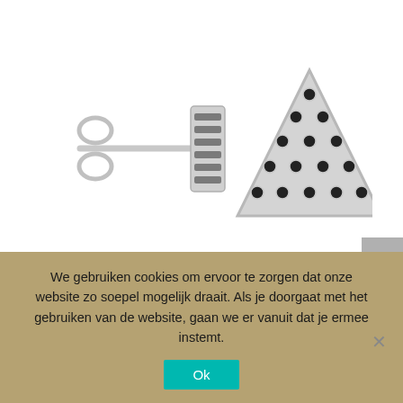[Figure (photo): Silver triangle stud earrings with black crystal/gemstone pave setting. Shows the side profile with butterfly backing on the left, and the front face of the triangle earring on the right with rows of black stones in a silver setting.]
We gebruiken cookies om ervoor te zorgen dat onze website zo soepel mogelijk draait. Als je doorgaat met het gebruiken van de website, gaan we er vanuit dat je ermee instemt.